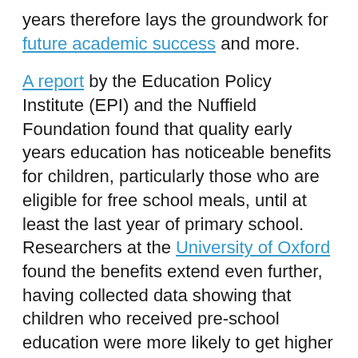years therefore lays the groundwork for future academic success and more.
A report by the Education Policy Institute (EPI) and the Nuffield Foundation found that quality early years education has noticeable benefits for children, particularly those who are eligible for free school meals, until at least the last year of primary school. Researchers at the University of Oxford found the benefits extend even further, having collected data showing that children who received pre-school education were more likely to get higher GCSE grades.
As discussed in our blog on maths anxiety and growth mindset, attitudes towards education can make all the difference to attainment. As studies show, "Children who engage in scientific activities from an early age develop positive attitudes toward science, which also correlate with later science achievement." So, the importance of